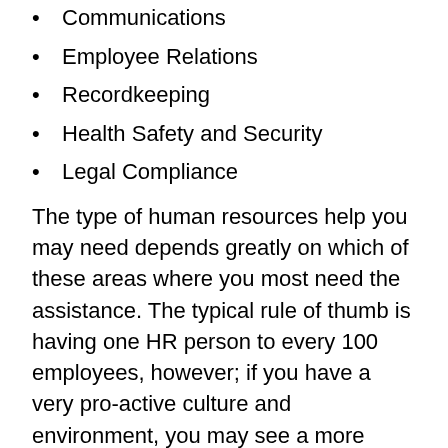Communications
Employee Relations
Recordkeeping
Health Safety and Security
Legal Compliance
The type of human resources help you may need depends greatly on which of these areas where you most need the assistance. The typical rule of thumb is having one HR person to every 100 employees, however; if you have a very pro-active culture and environment, you may see a more pressing need for full-time HR help.
Below are a few options you can consider: